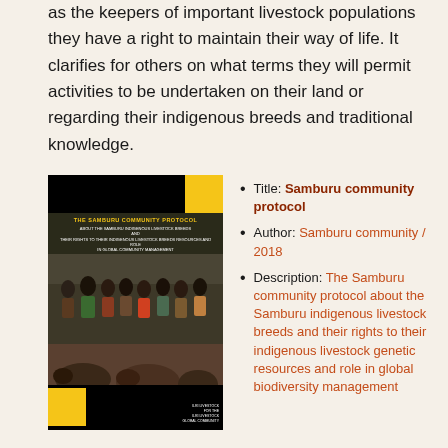as the keepers of important livestock populations they have a right to maintain their way of life. It clarifies for others on what terms they will permit activities to be undertaken on their land or regarding their indigenous breeds and traditional knowledge.
[Figure (photo): Cover of 'The Samburu Community Protocol' document showing a group photo of Samburu community members and cattle, with yellow accent squares and black background]
Title: Samburu community protocol
Author: Samburu community / 2018
Description: The Samburu community protocol about the Samburu indigenous livestock breeds and their rights to their indigenous livestock genetic resources and role in global biodiversity management